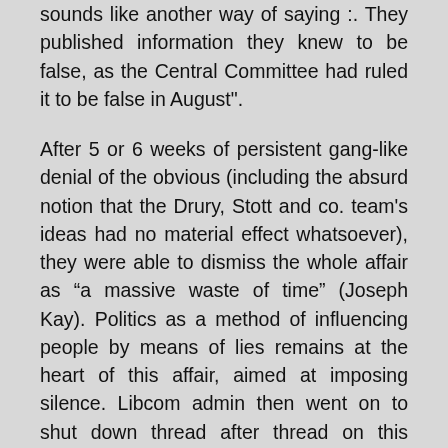sounds like another way of saying :. They published information they knew to be false, as the Central Committee had ruled it to be false in August".
After 5 or 6 weeks of persistent gang-like denial of the obvious (including the absurd notion that the Drury, Stott and co. team's ideas had no material effect whatsoever), they were able to dismiss the whole affair as “a massive waste of time” (Joseph Kay). Politics as a method of influencing people by means of lies remains at the heart of this affair, aimed at imposing silence. Libcom admin then went on to shut down thread after thread on this affair, leaving only one with the obscure title “Why this article has been removed?”31, and banned various people either temporarily or permanently, according to whimsical subjective criteria (e.g. the dismissal of someone as a troll